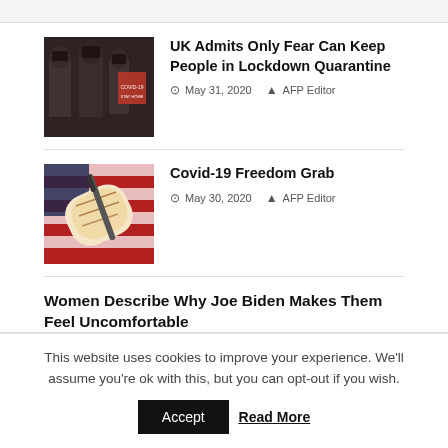[Figure (photo): Police officers in riot gear, dark scene]
UK Admits Only Fear Can Keep People in Lockdown Quarantine
May 31, 2020  AFP Editor
[Figure (photo): Document scroll on American flag background]
Covid-19 Freedom Grab
May 30, 2020  AFP Editor
Women Describe Why Joe Biden Makes Them Feel Uncomfortable
May 29, 2020  AFP Editor
This website uses cookies to improve your experience. We'll assume you're ok with this, but you can opt-out if you wish.